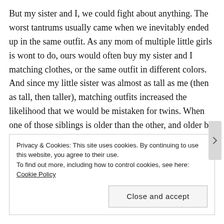But my sister and I, we could fight about anything. The worst tantrums usually came when we inevitably ended up in the same outfit. As any mom of multiple little girls is wont to do, ours would often buy my sister and I matching clothes, or the same outfit in different colors. And since my little sister was almost as tall as me (then as tall, then taller), matching outfits increased the likelihood that we would be mistaken for twins. When one of those siblings is older than the other, and older by the enormous margin of two AND A HALF years, that mistake is basically like telling said older sibling she looks like she still wears diapers and
Privacy & Cookies: This site uses cookies. By continuing to use this website, you agree to their use.
To find out more, including how to control cookies, see here: Cookie Policy
Close and accept